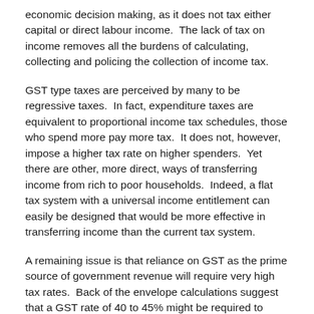economic decision making, as it does not tax either capital or direct labour income.  The lack of tax on income removes all the burdens of calculating, collecting and policing the collection of income tax.
GST type taxes are perceived by many to be regressive taxes.  In fact, expenditure taxes are equivalent to proportional income tax schedules, those who spend more pay more tax.  It does not, however, impose a higher tax rate on higher spenders.  Yet there are other, more direct, ways of transferring income from rich to poor households.  Indeed, a flat tax system with a universal income entitlement can easily be designed that would be more effective in transferring income than the current tax system.
A remaining issue is that reliance on GST as the prime source of government revenue will require very high tax rates.  Back of the envelope calculations suggest that a GST rate of 40 to 45% might be required to replace the existing income and company tax rates.  This largely